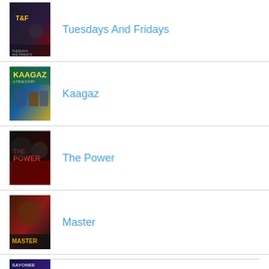Tuesdays And Fridays
Kaagaz
The Power
Master
Sayonee